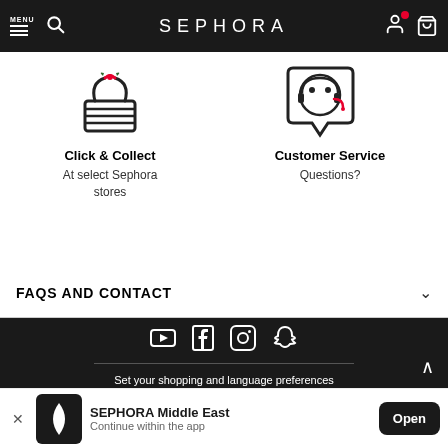MENU / SEPHORA
[Figure (illustration): Click & Collect icon - basket with items]
Click & Collect
At select Sephora stores
[Figure (illustration): Customer Service icon - chat bubble with headset face]
Customer Service
Questions?
FAQS AND CONTACT
[Figure (infographic): Dark footer with social media icons: YouTube, Facebook, Instagram, Snapchat]
Set your shopping and language preferences
Bahrain - العربية
SEPHORA Middle East
Continue within the app